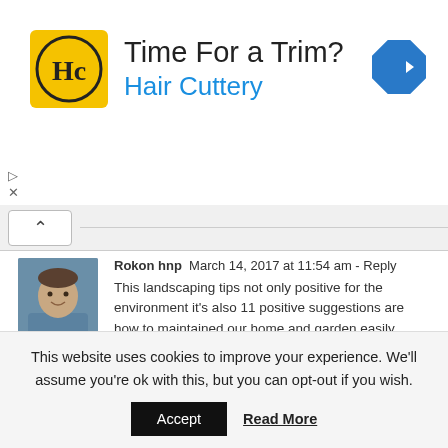[Figure (logo): Hair Cuttery advertisement banner with HC logo, 'Time For a Trim?' heading in black, 'Hair Cuttery' subheading in blue, and a blue diamond-shaped navigation icon on the right.]
Rokon hnp  March 14, 2017 at 11:54 am - Reply
This landscaping tips not only positive for the environment it's also 11 positive suggestions are how to maintained our home and garden easily.
Leave A Comment
This website uses cookies to improve your experience. We'll assume you're ok with this, but you can opt-out if you wish.